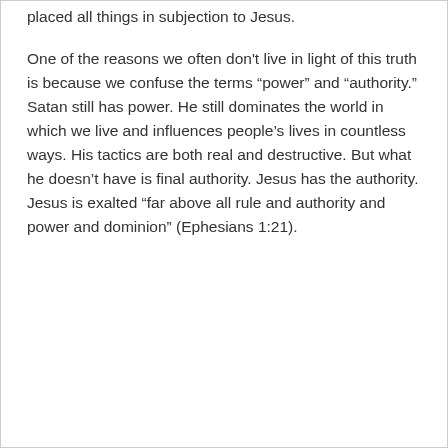placed all things in subjection to Jesus.
One of the reasons we often don't live in light of this truth is because we confuse the terms “power” and “authority.” Satan still has power. He still dominates the world in which we live and influences people’s lives in countless ways. His tactics are both real and destructive. But what he doesn’t have is final authority. Jesus has the authority. Jesus is exalted “far above all rule and authority and power and dominion” (Ephesians 1:21).